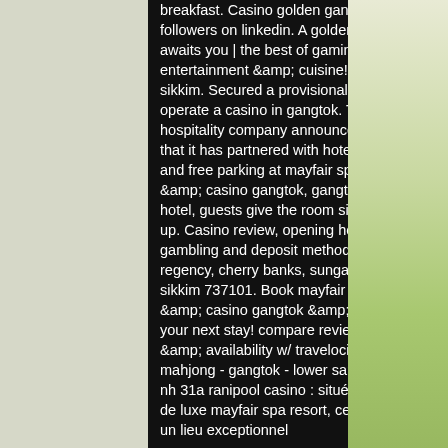breakfast. Casino golden gangtok | 14 followers on linkedin. A golden experience awaits you | the best of gaming, entertainment &amp; cuisine! | at gangtok, sikkim. Secured a provisional license to operate a casino in gangtok. The hospitality company announced in april that it has partnered with hotel. Free wifi and free parking at mayfair spa resort &amp; casino gangtok, gangtok. Luxury hotel, guests give the room size a thumbs up. Casino review, opening hours, gambling and deposit methods. Denzong regency, cherry banks, sungava, gangtok, sikkim 737101. Book mayfair spa resort &amp; casino gangtok &amp; save big on your next stay! compare reviews, photos, &amp; availability w/ travelocity. Casino mahjong - gangtok - lower samdur block nh 31a ranipool casino : situé dans l'hôtel de luxe mayfair spa resort, ce casino est un lieu exceptionnel